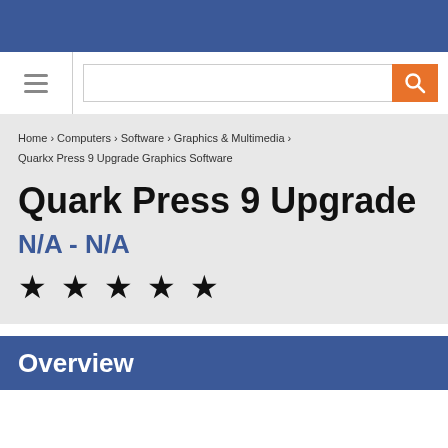[Figure (screenshot): Blue header bar at top of webpage]
[Figure (screenshot): Navigation bar with hamburger menu and search box with orange search button]
Home › Computers › Software › Graphics & Multimedia › Quarkx Press 9 Upgrade Graphics Software
Quark Press 9 Upgrade
N/A - N/A
★ ★ ★ ★ ★
Overview